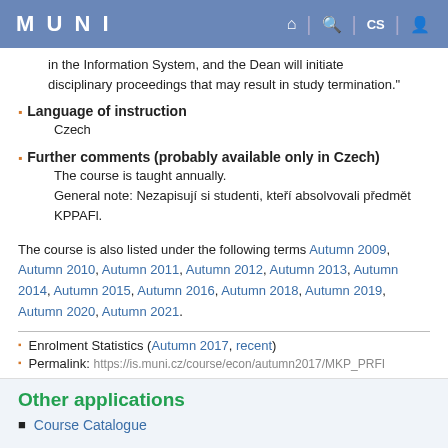MUNI
in the Information System, and the Dean will initiate disciplinary proceedings that may result in study termination."
Language of instruction
Czech
Further comments (probably available only in Czech)
The course is taught annually.
General note: Nezapisují si studenti, kteří absolvovali předmět KPPAFl.
The course is also listed under the following terms Autumn 2009, Autumn 2010, Autumn 2011, Autumn 2012, Autumn 2013, Autumn 2014, Autumn 2015, Autumn 2016, Autumn 2018, Autumn 2019, Autumn 2020, Autumn 2021.
Enrolment Statistics (Autumn 2017, recent)
Permalink: https://is.muni.cz/course/econ/autumn2017/MKP_PRFI
Other applications
Course Catalogue